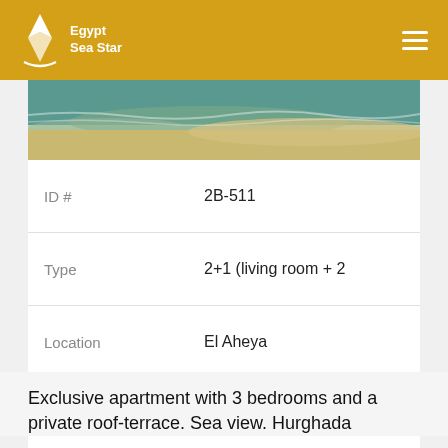[Figure (logo): Egypt Sea Star logo with white star/triangle graphic on golden background]
[Figure (photo): Beach scene with shallow water and sand, sea view]
|  |  |
| --- | --- |
| ID # | 2B-511 |
| Type | 2+1 (living room + 2 |
| Location | El Aheya |
| Total area | 85 m² |
| Rooms | 3 |
| Price | $19500 |
Exclusive apartment with 3 bedrooms and a private roof-terrace. Sea view. Hurghada